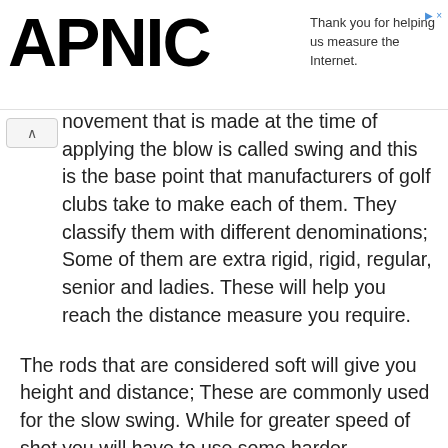APNIC — Thank you for helping us measure the Internet.
novement that is made at the time of applying the blow is called swing and this is the base point that manufacturers of golf clubs take to make each of them. They classify them with different denominations; Some of them are extra rigid, rigid, regular, senior and ladies. These will help you reach the distance measure you require.
The rods that are considered soft will give you height and distance; These are commonly used for the slow swing. While for greater speed of shot you will have to use some harder.
Weight is another factor that determines the shot. As we explained earlier, steel ones are heavier; some can be